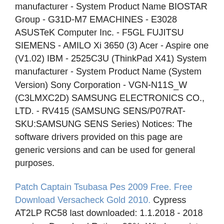manufacturer - System Product Name BIOSTAR Group - G31D-M7 EMACHINES - E3028 ASUSTeK Computer Inc. - F5GL FUJITSU SIEMENS - AMILO Xi 3650 (3) Acer - Aspire one (V1.02) IBM - 2525C3U (ThinkPad X41) System manufacturer - System Product Name (System Version) Sony Corporation - VGN-N11S_W (C3LMXC2D) SAMSUNG ELECTRONICS CO., LTD. - RV415 (SAMSUNG SENS/P07RAT- SKU:SAMSUNG SENS Series) Notices: The software drivers provided on this page are generic versions and can be used for general purposes.
Patch Captain Tsubasa Pes 2009 Free. Free Download Versacheck Gold 2010. Cypress AT2LP RC58 last downloaded: 1.1.2018 - 2018 version. Download Rating: 99%. Windows vista drivers: Cypress AT2LP RC58 - driver software, Drivers for.
However, computer original equipment